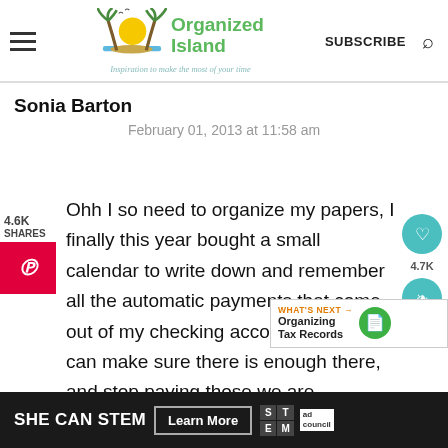Organized Island — Inspiration to make the most of your time | SUBSCRIBE
Sonia Barton
February 01, 2013 at 11:58 am
4.6K SHARES
Ohh I so need to organize my papers, I finally this year bought a small calendar to write down and remember all the automatic payments that come out of my checking account so that I can make sure there is enough there, and stop paying those we are
[Figure (screenshot): What's Next promo box showing 'Organizing Tax Records']
[Figure (infographic): SHE CAN STEM ad banner with Learn More button and Ad Council logo]